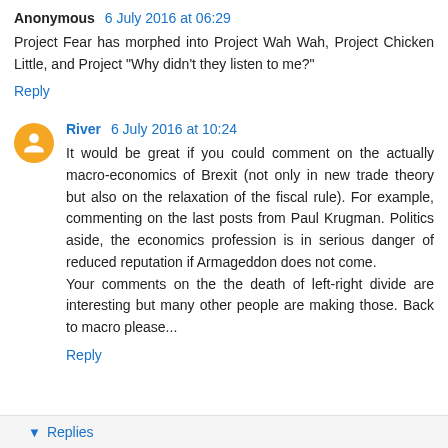Anonymous 6 July 2016 at 06:29
Project Fear has morphed into Project Wah Wah, Project Chicken Little, and Project "Why didn't they listen to me?"
Reply
River 6 July 2016 at 10:24
It would be great if you could comment on the actually macro-economics of Brexit (not only in new trade theory but also on the relaxation of the fiscal rule). For example, commenting on the last posts from Paul Krugman. Politics aside, the economics profession is in serious danger of reduced reputation if Armageddon does not come.
Your comments on the the death of left-right divide are interesting but many other people are making those. Back to macro please...
Reply
Replies